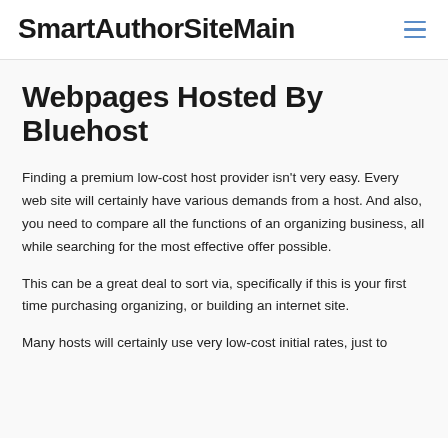SmartAuthorSiteMain
Webpages Hosted By Bluehost
Finding a premium low-cost host provider isn't very easy. Every web site will certainly have various demands from a host. And also, you need to compare all the functions of an organizing business, all while searching for the most effective offer possible.
This can be a great deal to sort via, specifically if this is your first time purchasing organizing, or building an internet site.
Many hosts will certainly use very low-cost initial rates, just to